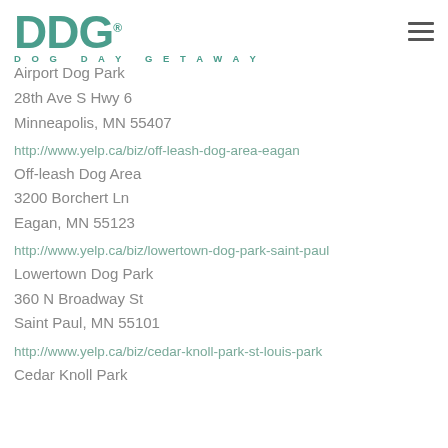[Figure (logo): DDG Dog Day Getaway logo in teal/green color with registered trademark symbol, and hamburger menu icon on the right]
Airport Dog Park
28th Ave S Hwy 6
Minneapolis, MN 55407
http://www.yelp.ca/biz/off-leash-dog-area-eagan
Off-leash Dog Area
3200 Borchert Ln
Eagan, MN 55123
http://www.yelp.ca/biz/lowertown-dog-park-saint-paul
Lowertown Dog Park
360 N Broadway St
Saint Paul, MN 55101
http://www.yelp.ca/biz/cedar-knoll-park-st-louis-park
Cedar Knoll Park